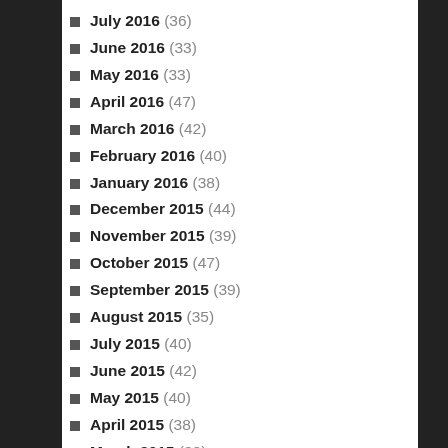July 2016 (36)
June 2016 (33)
May 2016 (33)
April 2016 (47)
March 2016 (42)
February 2016 (40)
January 2016 (38)
December 2015 (44)
November 2015 (39)
October 2015 (47)
September 2015 (39)
August 2015 (35)
July 2015 (40)
June 2015 (42)
May 2015 (40)
April 2015 (38)
March 2015 (38)
February 2015 (39)
January 2015 (53)
December 2014 (50)
November 2014 (41)